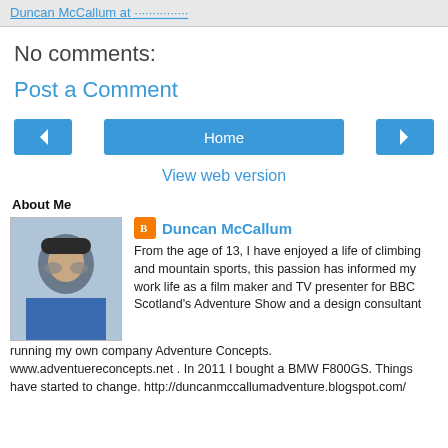Duncan McCallum at ...............
No comments:
Post a Comment
[Figure (other): Navigation buttons: left arrow, Home, right arrow]
View web version
About Me
[Figure (photo): Profile photo of Duncan McCallum, a man wearing sunglasses and a blue jacket in a snowy outdoor setting]
Duncan McCallum
From the age of 13, I have enjoyed a life of climbing and mountain sports, this passion has informed my work life as a film maker and TV presenter for BBC Scotland's Adventure Show and a design consultant running my own company Adventure Concepts. www.adventuereconcepts.net . In 2011 I bought a BMW F800GS. Things have started to change. http://duncanmccallumadventure.blogspot.com/